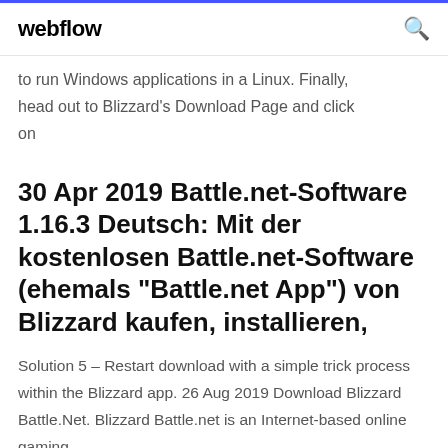webflow
to run Windows applications in a Linux. Finally, head out to Blizzard's Download Page and click on
30 Apr 2019 Battle.net-Software 1.16.3 Deutsch: Mit der kostenlosen Battle.net-Software (ehemals "Battle.net App") von Blizzard kaufen, installieren,
Solution 5 – Restart download with a simple trick process within the Blizzard app. 26 Aug 2019 Download Blizzard Battle.Net. Blizzard Battle.net is an Internet-based online gaming